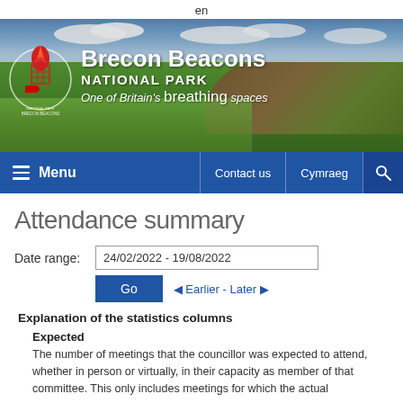en
[Figure (photo): Brecon Beacons National Park landscape banner with logo. Text: Brecon Beacons NATIONAL PARK One of Britain's breathing spaces.]
Menu | Contact us | Cymraeg | Search
Attendance summary
Date range: 24/02/2022 - 19/08/2022
Go | Earlier - Later
Explanation of the statistics columns
Expected
The number of meetings that the councillor was expected to attend, whether in person or virtually, in their capacity as member of that committee. This only includes meetings for which the actual